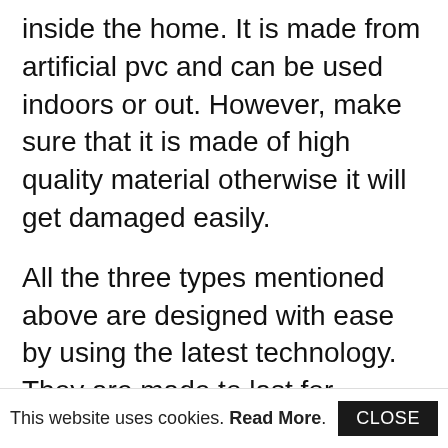inside the home. It is made from artificial pvc and can be used indoors or out. However, make sure that it is made of high quality material otherwise it will get damaged easily.
All the three types mentioned above are designed with ease by using the latest technology. They are made to last for several years even when subjected to different climatic conditions. With the help of the remote control, you can place them anywhere in your yard and still have fun. Check out the various websites online to
This website uses cookies. Read More. CLOSE